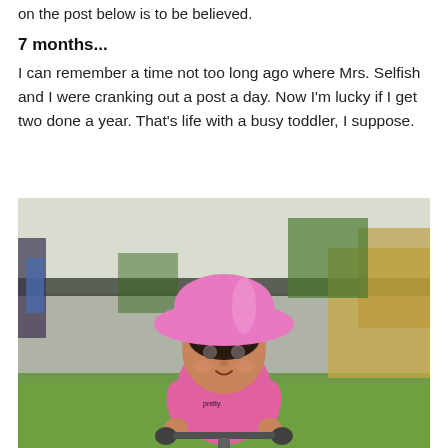on the post below is to be believed.
7 months...
I can remember a time not too long ago where Mrs. Selfish and I were cranking out a post a day. Now I'm lucky if I get two done a year. That's life with a busy toddler, I suppose.
[Figure (photo): A toddler wearing a pink wide-brimmed sun hat and pink long-sleeve shirt, sitting on a small balance bike or tricycle with dark handlebars, outdoors on green artificial grass with garden beds and a fence in the background.]